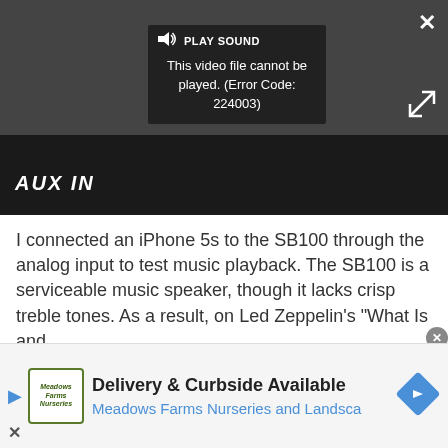[Figure (screenshot): Video player showing error message 'This video file cannot be played. (Error Code: 224003)' with PLAY SOUND button, close X, expand button, and AUX IN label at bottom. Dark background.]
I connected an iPhone 5s to the SB100 through the analog input to test music playback. The SB100 is a serviceable music speaker, though it lacks crisp treble tones. As a result, on Led Zeppelin's "What Is and
[Figure (screenshot): Advertisement banner: Delivery & Curbside Available - Meadows Farms Nurseries and Landscape]